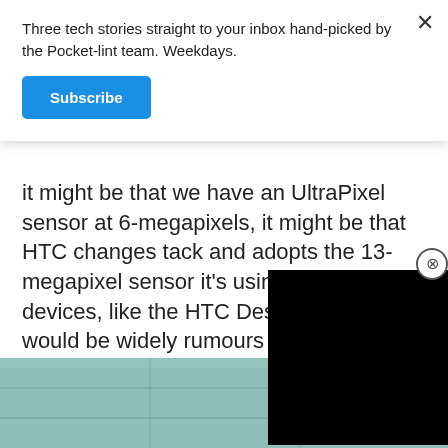Three tech stories straight to your inbox hand-picked by the Pocket-lint team. Weekdays.
Subscribe
it might be that we have an UltraPixel sensor at 6-megapixels, it might be that HTC changes tack and adopts the 13-megapixel sensor it's using in other devices, like the HTC Desire stabilisation would be widely rumours are pairing OIS with sensor.
NOWHEREELSE
[Figure (photo): Partial view of a teal/green colored device surface, likely a smartphone back panel, partially visible at the bottom of the page.]
[Figure (screenshot): Black video player overlay in the right portion of the page, partially covering the article text, with a close (X) circle button in the top-left corner of the player.]